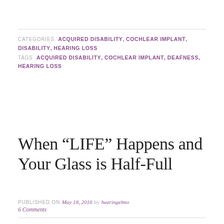CATEGORIES  ACQUIRED DISABILITY, COCHLEAR IMPLANT, DISABILITY, HEARING LOSS
TAGS  ACQUIRED DISABILITY, COCHLEAR IMPLANT, DEAFNESS, HEARING LOSS
When “LIFE” Happens and Your Glass is Half-Full
PUBLISHED ON May 18, 2016 by hearingelmo
6 Comments